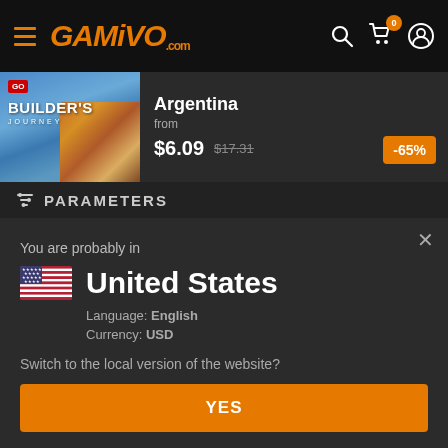GAMIVO.com navigation bar with hamburger menu, logo, search, cart (0), and user icons
[Figure (screenshot): LEGO Builder's Journey game product card showing Argentina region, from $6.09 (original $17.31), -65% discount badge]
PARAMETERS
You are probably in
United States
Language: English
Currency: USD
Switch to the local version of the website?
YES